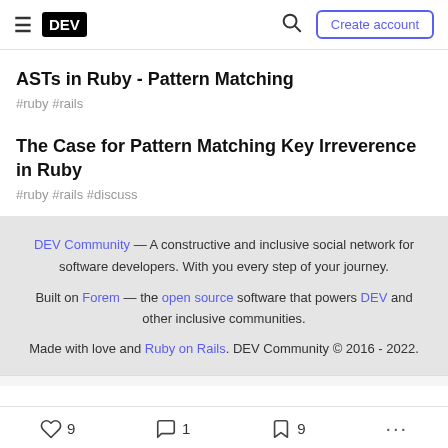DEV — Create account
ASTs in Ruby - Pattern Matching
#ruby #rails
The Case for Pattern Matching Key Irreverence in Ruby
#ruby #rails #discuss
DEV Community — A constructive and inclusive social network for software developers. With you every step of your journey. Built on Forem — the open source software that powers DEV and other inclusive communities. Made with love and Ruby on Rails. DEV Community © 2016 - 2022.
9 reactions · 1 · 9 bookmarks · ...